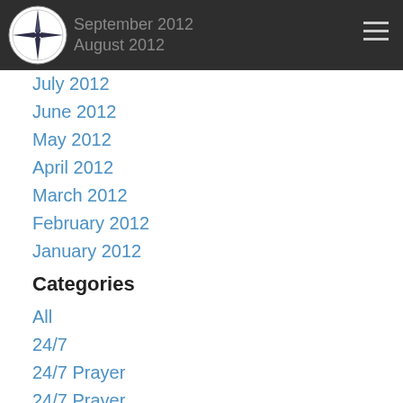September 2012 / August 2012
July 2012
June 2012
May 2012
April 2012
March 2012
February 2012
January 2012
Categories
All
24/7
24/7 Prayer
24/7 Prayer
Apostle
Arc
Character
Church